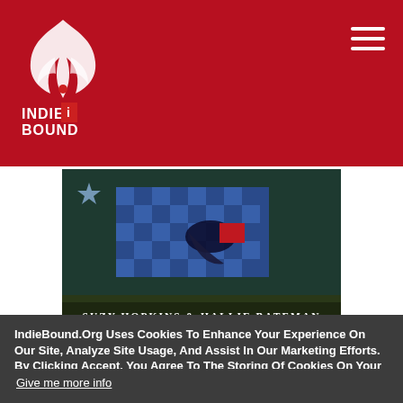IndieBound logo and navigation header
[Figure (illustration): Book cover for 'What To Do When I'm Gone' by Suzy Hopkins & Hallie Bateman. Shows a dark blue/teal background with a checkerboard pattern, a figure lying down, and a red box. Author names displayed at bottom in white uppercase serif text: SUZY HOPKINS & HALLIE BATEMAN.]
What To Do When I'm Gone
IndieBound.Org Uses Cookies To Enhance Your Experience On Our Site, Analyze Site Usage, And Assist In Our Marketing Efforts. By Clicking Accept, You Agree To The Storing Of Cookies On Your Device. View Our Cookie Policy.
Give me more info